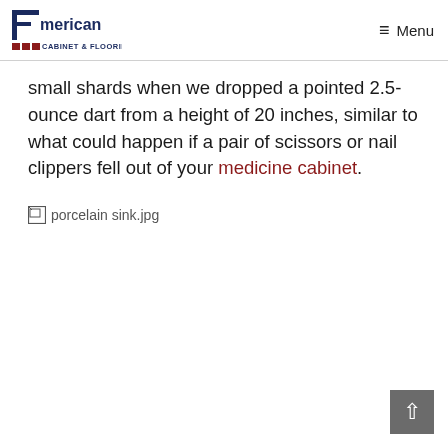American Cabinet & Flooring — Menu
small shards when we dropped a pointed 2.5-ounce dart from a height of 20 inches, similar to what could happen if a pair of scissors or nail clippers fell out of your medicine cabinet.
[Figure (photo): Broken image placeholder showing 'porcelain sink.jpg']
▲ (scroll to top button)